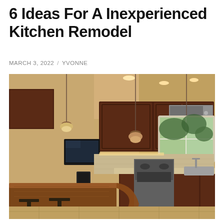6 Ideas For A Inexperienced Kitchen Remodel
MARCH 3, 2022 / YVONNE
[Figure (photo): Interior photo of a remodeled kitchen featuring dark cherry wood cabinets, pendant lights, stainless steel appliances including a microwave and range, a kitchen island with a wood countertop and bar seating, a window with outdoor greenery visible, and recessed ceiling lights. The kitchen has warm beige/cream tones with a tile backsplash.]